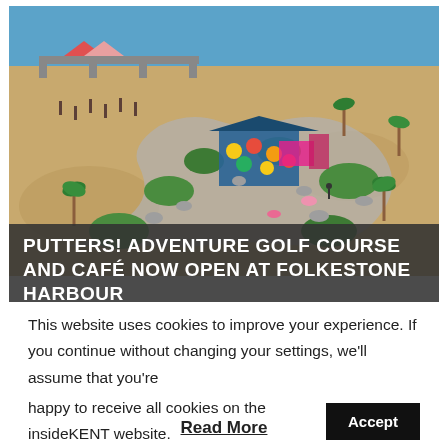[Figure (photo): Aerial view of Putters! Adventure Golf Course on a sandy beach at Folkestone Harbour. Shows mini-golf greens winding through sandy areas, colorful umbrellas and a blue canopy structure in the centre, palm trees scattered around, rocks, and the sea visible in the background.]
PUTTERS! ADVENTURE GOLF COURSE AND CAFÉ NOW OPEN AT FOLKESTONE HARBOUR
This website uses cookies to improve your experience. If you continue without changing your settings, we'll assume that you're happy to receive all cookies on the insideKENT website.
Accept
Read More